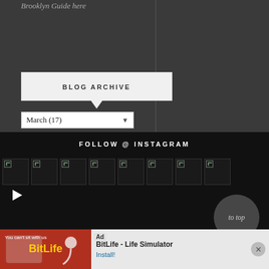Brooklyn Guide here
BLOG ARCHIVE
March (17)
FOLLOW @ INSTAGRAM
[Figure (photo): Row of Instagram image thumbnails with broken image icons]
© 2007–2020 Brooklyn Limestone. All Rights Reserved. Privacy Policy
Template by LucaLogos.com
[Figure (other): Advertisement banner for BitLife - Life Simulator app with Install button]